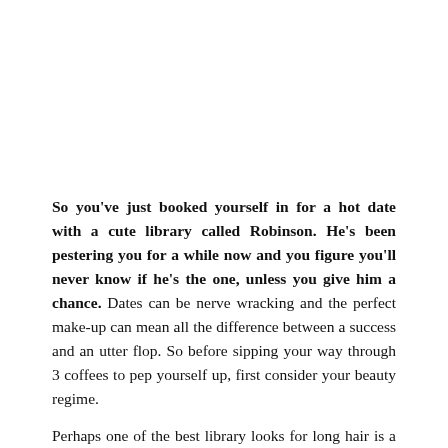So you've just booked yourself in for a hot date with a cute library called Robinson. He's been pestering you for a while now and you figure you'll never know if he's the one, unless you give him a chance. Dates can be nerve wracking and the perfect make-up can mean all the difference between a success and an utter flop. So before sipping your way through 3 coffees to pep yourself up, first consider your beauty regime.

Perhaps one of the best library looks for long hair is a bun. There's nothing simpler than just twisting your hair up on top of your head and securing with a scrunchie or bobby pins. This style keeps hair out of